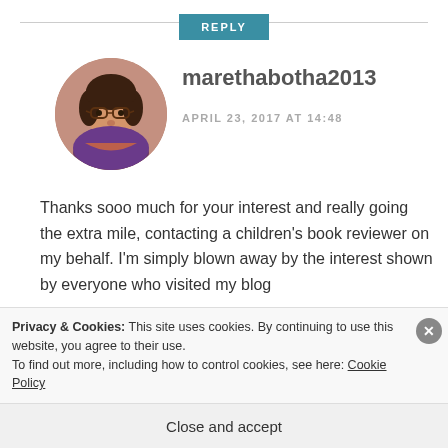REPLY
[Figure (photo): Circular avatar photo of a woman with dark hair and glasses, wearing a colorful scarf]
marethabotha2013
APRIL 23, 2017 AT 14:48
Thanks sooo much for your interest and really going the extra mile, contacting a children’s book reviewer on my behalf. I’m simply blown away by the interest shown by everyone who visited my blog
Privacy & Cookies: This site uses cookies. By continuing to use this website, you agree to their use.
To find out more, including how to control cookies, see here: Cookie Policy
Close and accept